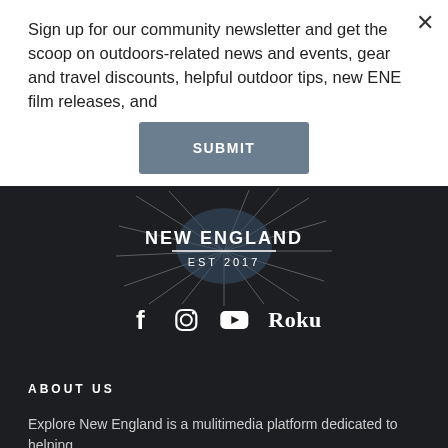Sign up for our community newsletter and get the scoop on outdoors-related news and events, gear and travel discounts, helpful outdoor tips, new ENE film releases, and
SUBMIT
[Figure (logo): Explore New England logo with radiating lines, text 'NEW ENGLAND' and 'EST 2017']
[Figure (infographic): Social media icons: Facebook, Instagram, YouTube, Roku]
ABOUT US
Explore New England is a mulitimedia platform dedicated to helping